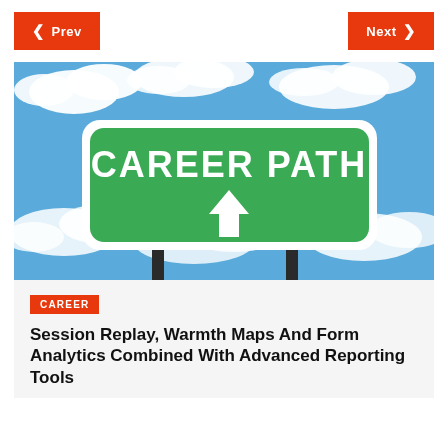< Prev    Next >
[Figure (photo): A green highway sign reading 'CAREER PATH' with an upward arrow, mounted on metal poles against a blue sky with clouds.]
CAREER
Session Replay, Warmth Maps And Form Analytics Combined With Advanced Reporting Tools